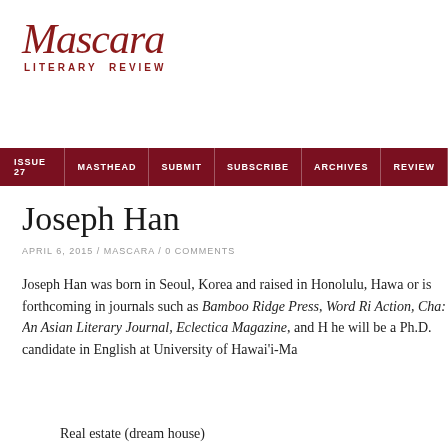[Figure (logo): Mascara Literary Review logo with italic script text and spaced subtitle]
ISSUE 27 / MASTHEAD / SUBMIT / SUBSCRIBE / ARCHIVES / REVIEW
Joseph Han
APRIL 6, 2015 / MASCARA / 0 COMMENTS
Joseph Han was born in Seoul, Korea and raised in Honolulu, Hawa or is forthcoming in journals such as Bamboo Ridge Press, Word Ri Action, Cha: An Asian Literary Journal, Eclectica Magazine, and H he will be a Ph.D. candidate in English at University of Hawai'i-Ma
Real estate (dream house)